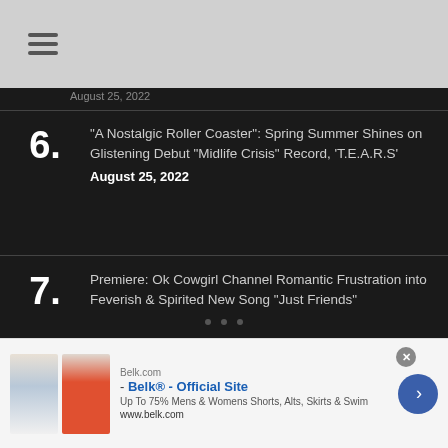"A Nostalgic Roller Coaster": Spring Summer Shines on Glistening Debut "Midlife Crisis" Record, 'T.E.A.R.S'
August 25, 2022
Premiere: Ok Cowgirl Channel Romantic Frustration into Feverish & Spirited New Song "Just Friends"
August 25, 2022
[Figure (other): Advertisement for Belk.com showing clothing items (skirts) with text: Belk.com - Belk® - Official Site. Up To 75% Mens & Womens Shorts, Alts, Skirts & Swim. www.belk.com]